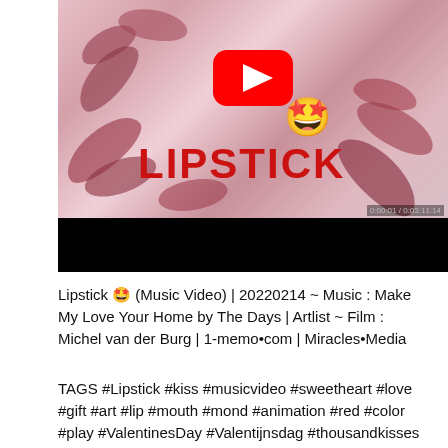[Figure (screenshot): YouTube video thumbnail showing a lipstick/kiss art video titled 'LIPSTICK' with a YouTube play button in red and a smiling face with heart eyes emoji. Background shows pink/red lip marks and strokes. Below the thumbnail is a black bar (video player controls area).]
Lipstick 🤩 (Music Video) | 20220214 ~ Music : Make My Love Your Home by The Days | Artlist ~ Film : Michel van der Burg | 1-memo•com | Miracles•Media
TAGS #Lipstick #kiss #musicvideo #sweetheart #love #gift #art #lip #mouth #mond #animation #red #color #play #ValentinesDay #Valentijnsdag #thousandkisses #stamp